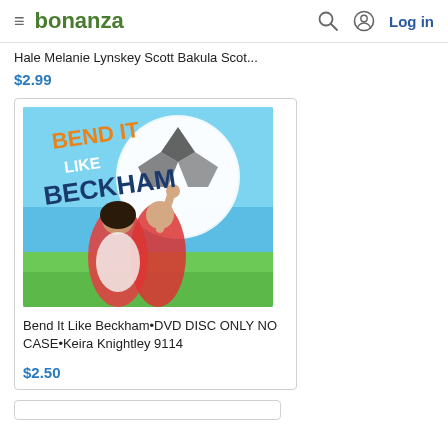bonanza  Log in
Hale Melanie Lynskey Scott Bakula Scot...
$2.99
[Figure (photo): Movie DVD cover for 'Bend It Like Beckham' showing two young women celebrating, one with arm raised, with a soccer ball in background against blue sky and green field]
Bend It Like Beckham•DVD DISC ONLY NO CASE•Keira Knightley 9114
$2.50